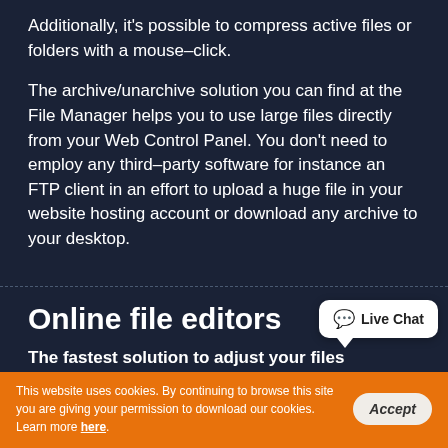Additionally, it's possible to compress active files or folders with a mouse–click.
The archive/unarchive solution you can find at the File Manager helps you to use large files directly from your Web Control Panel. You don't need to employ any third–party software for instance an FTP client in an effort to upload a huge file in your website hosting account or download any archive to your desktop.
Online file editors
The fastest solution to adjust your files
212 Hosting Professional's File Manager will allow you to
Live Chat
This website uses cookies. By continuing to browse this site you are giving your permission to download our cookies. Learn more here.